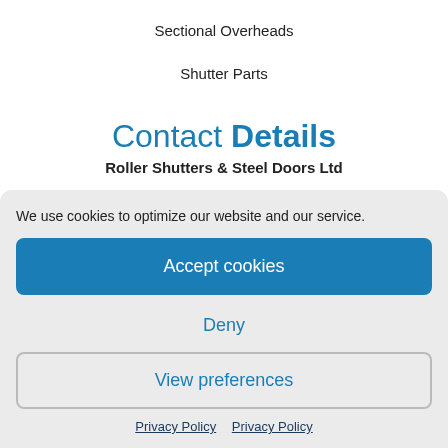Sectional Overheads
Shutter Parts
Contact Details
Roller Shutters & Steel Doors Ltd
We use cookies to optimize our website and our service.
Accept cookies
Deny
View preferences
Privacy Policy  Privacy Policy